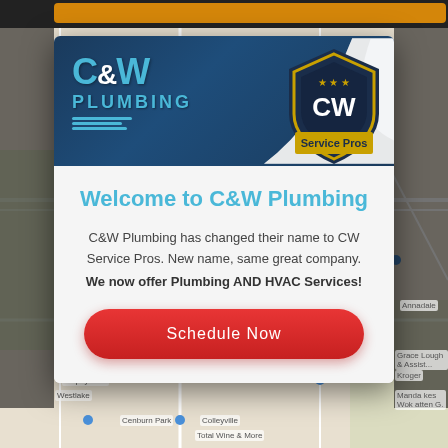[Figure (screenshot): Map background showing street map with location pins]
[Figure (logo): C&W Plumbing logo with truck and waves on dark blue background, with peeled corner revealing CW Service Pros shield badge]
Close
Welcome to C&W Plumbing
C&W Plumbing has changed their name to CW Service Pros. New name, same great company.
We now offer Plumbing AND HVAC Services!
Schedule Now